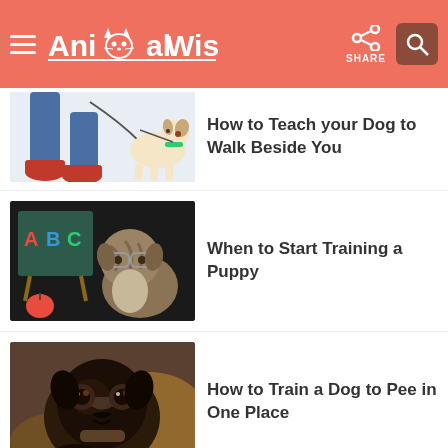AnimalWised
How to Teach your Dog to Walk Beside You
[Figure (photo): Dog walking beside person wearing jeans and red sneakers on a leash]
When to Start Training a Puppy
[Figure (photo): Puppy wearing glasses sitting next to a chalkboard with ABC letters]
How to Train a Dog to Pee in One Place
[Figure (photo): Close-up of a dark-colored puppy looking at camera]
How to Socialize a Puppy With Other Dogs
[Figure (photo): White puppy outdoors]